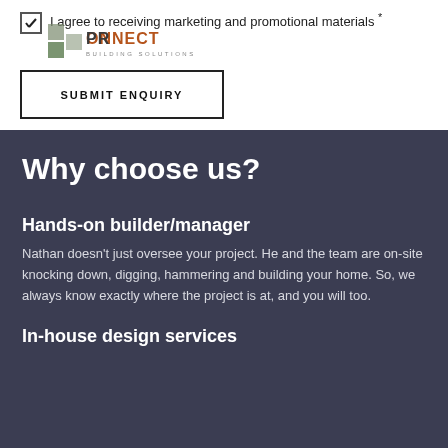I agree to receiving marketing and promotional materials *
[Figure (logo): ProConnect Building Solutions logo with stylized P icon in green/grey squares and text PRONNECT BUILDING SOLUTIONS]
SUBMIT ENQUIRY
Why choose us?
Hands-on builder/manager
Nathan doesn't just oversee your project. He and the team are on-site knocking down, digging, hammering and building your home. So, we always know exactly where the project is at, and you will too.
In-house design services